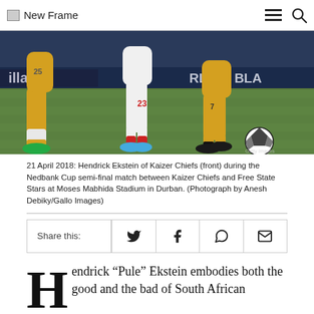New Frame
[Figure (photo): Soccer players in yellow Kaizer Chiefs kits and one in white during a match on a grass field. Close-up of legs and ball.]
21 April 2018: Hendrick Ekstein of Kaizer Chiefs (front) during the Nedbank Cup semi-final match between Kaizer Chiefs and Free State Stars at Moses Mabhida Stadium in Durban. (Photograph by Anesh Debiky/Gallo Images)
Share this:
Hendrick “Pule” Ekstein embodies both the good and the bad of South African